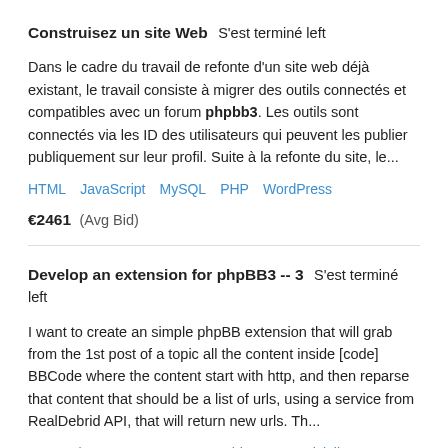Construisez un site Web  S&#039;est terminé left
Dans le cadre du travail de refonte d'un site web déjà existant, le travail consiste à migrer des outils connectés et compatibles avec un forum phpbb3. Les outils sont connectés via les ID des utilisateurs qui peuvent les publier publiquement sur leur profil. Suite à la refonte du site, le...
HTML   JavaScript   MySQL   PHP   WordPress
€2461  (Avg Bid)
Develop an extension for phpBB3 -- 3  S&#039;est terminé left
I want to create an simple phpBB extension that will grab from the 1st post of a topic all the content inside [code] BBCode where the content start with http, and then reparse that content that should be a list of urls, using a service from RealDebrid API, that will return new urls. Th...
JavaScript   MySQL   PHP   Architecture Logicielle